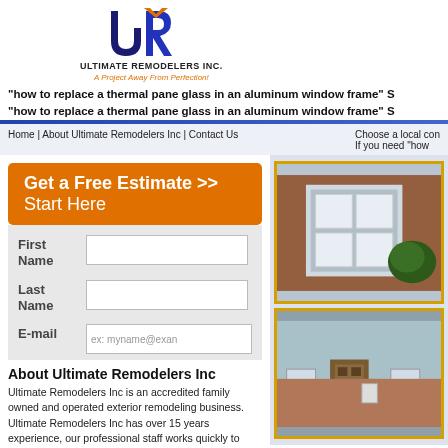[Figure (logo): Ultimate Remodelers Inc logo with stylized U and R letters in dark blue and orange, company name below]
"how to replace a thermal pane glass in an aluminum window frame" S
"how to replace a thermal pane glass in an aluminum window frame" S
Home | About Ultimate Remodelers Inc | Contact Us
Choose a local con
If you need "how
Get a Free Estimate >> Start Here
First Name
Last Name
E-mail
About Ultimate Remodelers Inc
Ultimate Remodelers Inc is an accredited family owned and operated exterior remodeling business. Ultimate Remodelers Inc has over 15 years experience, our professional staff works quickly to provide quality workmanship that lasts. With the knowledge to get your how to replace a
[Figure (photo): Photo of brick house exterior with white bay window]
[Figure (photo): Photo of house exterior with door and windows]